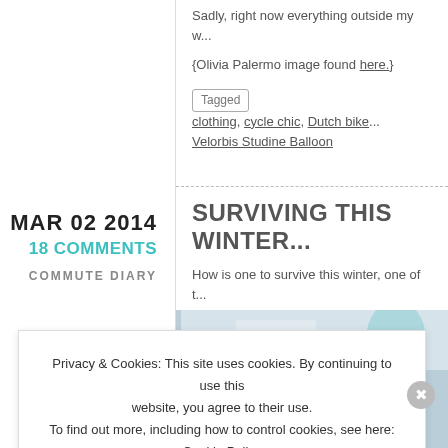Sadly, right now everything outside my w...
{Olivia Palermo image found here.}
Tagged clothing, cycle chic, Dutch bike... Velorbis Studine Balloon
MAR 02 2014
18 COMMENTS
COMMUTE DIARY
SURVIVING THIS WINTER...
How is one to survive this winter, one of t...
[Figure (photo): Winter scene photo, partially visible]
Privacy & Cookies: This site uses cookies. By continuing to use this website, you agree to their use. To find out more, including how to control cookies, see here: Cookie Policy
Close and accept